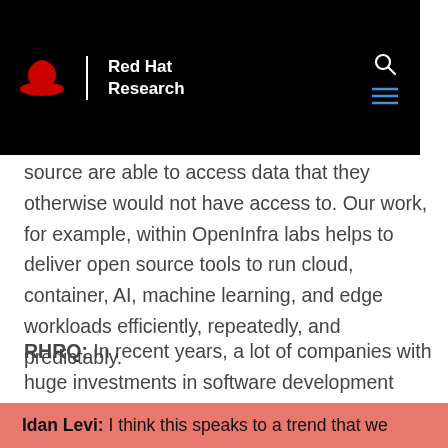Red Hat Research
ource are able to access data that they otherwise would not have access to. Our work, for example, within OpenInfra labs helps to deliver open source tools to run cloud, container, AI, machine learning, and edge workloads efficiently, repeatedly, and predictably.
RHRQ: In recent years, a lot of companies with huge investments in software development have gotten involved with open source research. How does this affect the development of open source software?
Idan Levi: I think this speaks to a trend that we